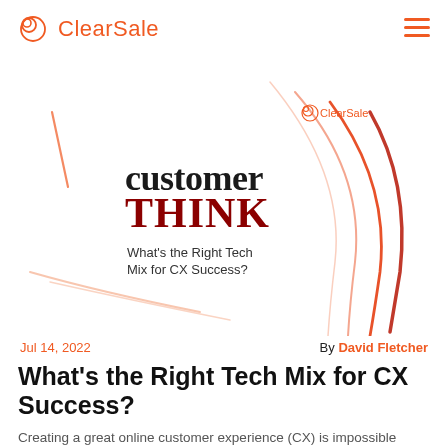ClearSale
[Figure (illustration): Hero image showing CustomerThink logo with text 'What's the Right Tech Mix for CX Success?' overlaid on abstract orange curved lines on white background, with small ClearSale logo watermark in upper right area of image]
Jul 14, 2022
By David Fletcher
What's the Right Tech Mix for CX Success?
Creating a great online customer experience (CX) is impossible without the right technology, but technology isn't the only key